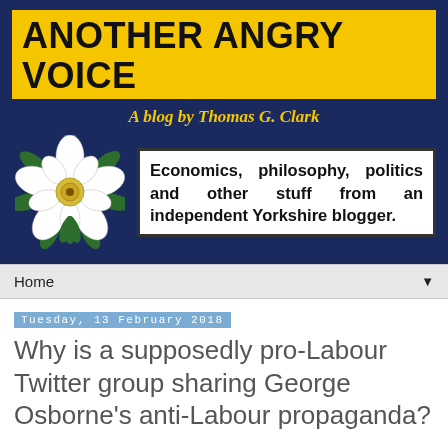[Figure (logo): Another Angry Voice blog logo — dark navy background with yellow title bar reading 'ANOTHER ANGRY VOICE', subtitle 'A blog by Thomas G. Clark', Yorkshire rose illustration, and white text box reading 'Economics, philosophy, politics and other stuff from an independent Yorkshire blogger.']
Home ▼
Tuesday, 13 February 2018
Why is a supposedly pro-Labour Twitter group sharing George Osborne's anti-Labour propaganda?